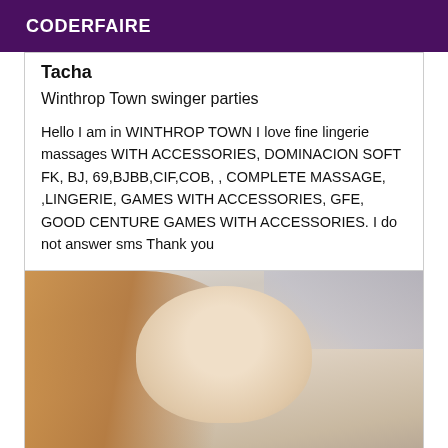CODERFAIRE
Tacha
Winthrop Town swinger parties
Hello I am in WINTHROP TOWN I love fine lingerie massages WITH ACCESSORIES, DOMINACION SOFT FK, BJ, 69,BJBB,CIF,COB, , COMPLETE MASSAGE, ,LINGERIE, GAMES WITH ACCESSORIES, GFE, GOOD CENTURE GAMES WITH ACCESSORIES. I do not answer sms Thank you
[Figure (photo): Portrait photo of a young Asian woman with reddish-brown hair, looking at the camera]